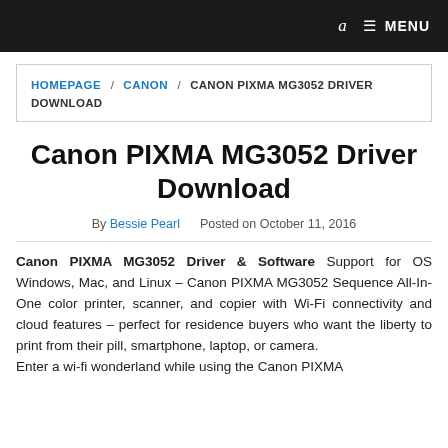a  MENU
HOMEPAGE / CANON / CANON PIXMA MG3052 DRIVER DOWNLOAD
Canon PIXMA MG3052 Driver Download
By Bessie Pearl   Posted on October 11, 2016
Canon PIXMA MG3052 Driver & Software Support for OS Windows, Mac, and Linux – Canon PIXMA MG3052 Sequence All-In-One color printer, scanner, and copier with Wi-Fi connectivity and cloud features – perfect for residence buyers who want the liberty to print from their pill, smartphone, laptop, or camera.
Enter a wi-fi wonderland while using the Canon PIXMA